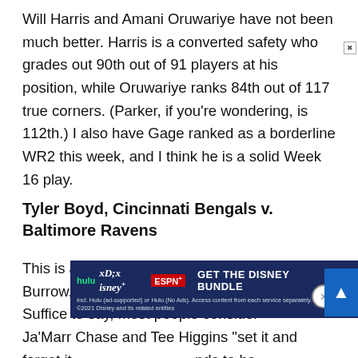Will Harris and Amani Oruwariye have not been much better. Harris is a converted safety who grades out 90th out of 91 players at his position, while Oruwariye ranks 84th out of 117 true corners. (Parker, if you're wondering, is 112th.) I also have Gage ranked as a borderline WR2 this week, and I think he is a solid Week 16 play.
Tyler Boyd, Cincinnati Bengals v. Baltimore Ravens
This is a bit of a correlation play with Joe Burrow, so I won't dive too deep here. Suffice to say, most people consider Ja'Marr Chase and Tee Higgins “set it and forget it” … nds to be more … consensus has him at WR38, which means you are
[Figure (other): Disney Bundle advertisement overlay showing Hulu, Disney+, and ESPN+ logos with 'GET THE DISNEY BUNDLE' call to action text and fine print about Hulu ad-supported or no ads access.]